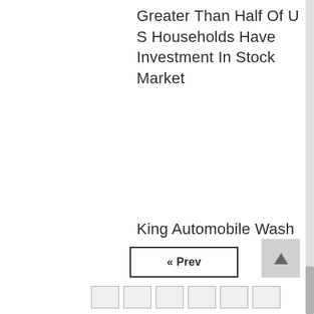Greater Than Half Of U S Households Have Investment In Stock Market
King Automobile Wash
« Prev